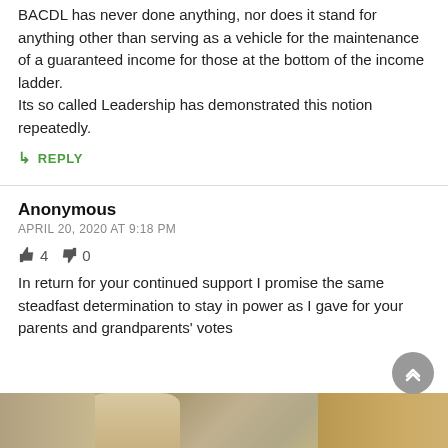BACDL has never done anything, nor does it stand for anything other than serving as a vehicle for the maintenance of a guaranteed income for those at the bottom of the income ladder. Its so called Leadership has demonstrated this notion repeatedly.
↳ REPLY
Anonymous
APRIL 20, 2020 AT 9:18 PM
👍 4  👎 0
In return for your continued support I promise the same steadfast determination to stay in power as I gave for your parents and grandparents' votes
[Figure (photo): Partial photo of a person at the bottom of the page]